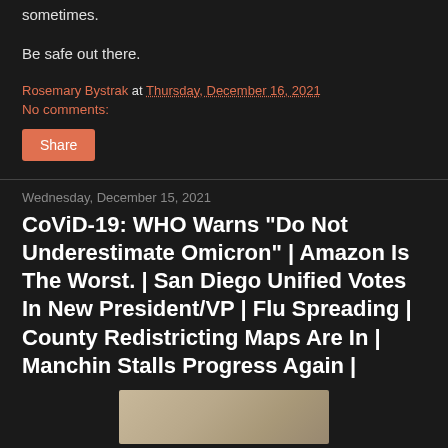sometimes.
Be safe out there.
Rosemary Bystrak at Thursday, December 16, 2021
No comments:
Share
Wednesday, December 15, 2021
CoViD-19: WHO Warns "Do Not Underestimate Omicron" | Amazon Is The Worst. | San Diego Unified Votes In New President/VP | Flu Spreading | County Redistricting Maps Are In | Manchin Stalls Progress Again |
[Figure (photo): Thumbnail image showing what appears to be a couch or sofa with cushions, partially visible at the bottom of the page.]